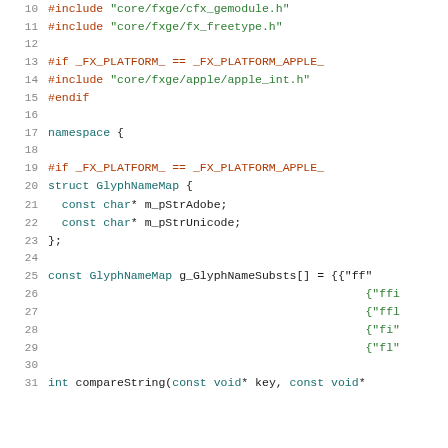[Figure (screenshot): Source code listing in C++ showing lines 10-31, with syntax highlighting. Lines include preprocessor directives (#include, #if, #endif), namespace declaration, struct definition for GlyphNameMap, and beginning of const array and function declarations.]